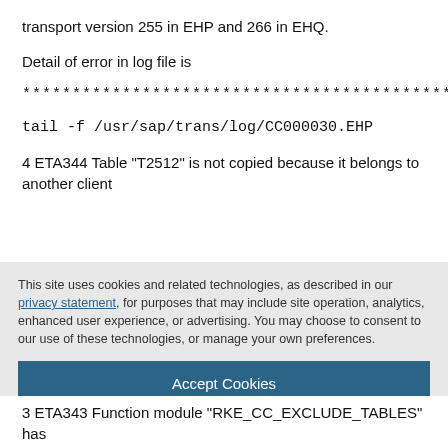transport version 255 in EHP and 266 in EHQ.
Detail of error in log file is
***********************************************
tail -f /usr/sap/trans/log/CC000030.EHP
4 ETA344 Table "T2512" is not copied because it belongs to another client
This site uses cookies and related technologies, as described in our privacy statement, for purposes that may include site operation, analytics, enhanced user experience, or advertising. You may choose to consent to our use of these technologies, or manage your own preferences.
Accept Cookies
More Information
Privacy Policy | Powered by: TrustArc
3 ETA343 Function module "RKE_CC_EXCLUDE_TABLES" has